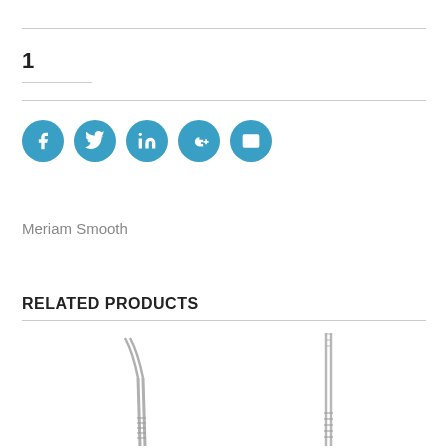1
[Figure (infographic): Social media share icons: Facebook, Twitter, LinkedIn, Google+, Email — all in teal/blue circles]
Meriam Smooth
RELATED PRODUCTS
[Figure (photo): Curved tip surgical forceps/tweezers with ridged handle, shown vertically]
[Figure (photo): Straight tip surgical forceps/tweezers with ridged handle, shown vertically]